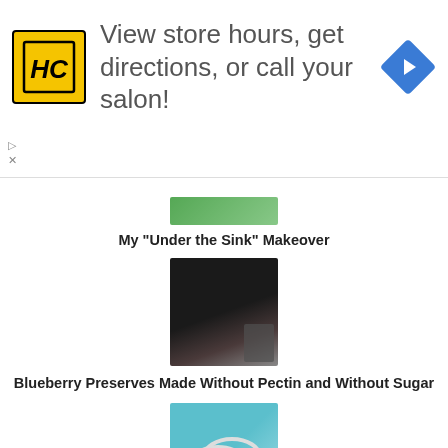[Figure (infographic): Advertisement banner: HC logo (yellow square with black HC letters), text 'View store hours, get directions, or call your salon!', blue navigation diamond icon on the right]
[Figure (photo): Small partially visible image at top - appears green, sink-related]
My "Under the Sink" Makeover
[Figure (photo): Blueberry preserves on a plate with a jar in background]
Blueberry Preserves Made Without Pectin and Without Sugar
[Figure (photo): DIY adjustable silver bracelets on a blue plate]
DIY Adjustable Silver Bracelets Anyone Can Make
[Figure (photo): Partially visible image at bottom, appears to be a craft/textile item]